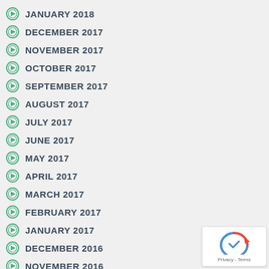JANUARY 2018
DECEMBER 2017
NOVEMBER 2017
OCTOBER 2017
SEPTEMBER 2017
AUGUST 2017
JULY 2017
JUNE 2017
MAY 2017
APRIL 2017
MARCH 2017
FEBRUARY 2017
JANUARY 2017
DECEMBER 2016
NOVEMBER 2016
OCTOBER 2016